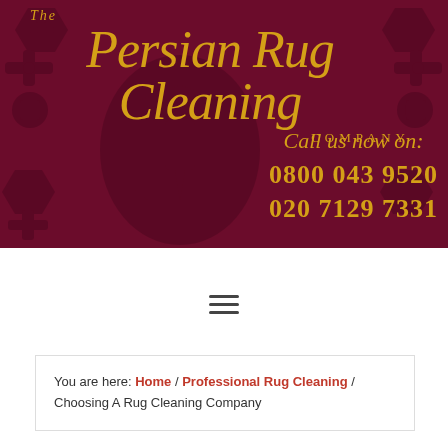[Figure (logo): The Persian Rug Cleaning Company logo with gold italic script on dark maroon/burgundy patterned background]
Call us now on: 0800 043 9520 020 7129 7331
≡
You are here: Home / Professional Rug Cleaning / Choosing A Rug Cleaning Company